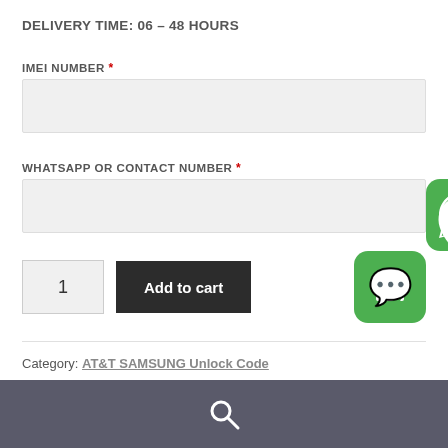DELIVERY TIME: 06 – 48 HOURS
IMEI NUMBER *
WHATSAPP OR CONTACT NUMBER *
Category: AT&T SAMSUNG Unlock Code